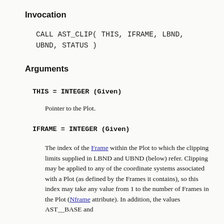Invocation
CALL AST_CLIP( THIS, IFRAME, LBND,
UBND, STATUS )
Arguments
THIS = INTEGER (Given)
Pointer to the Plot.
IFRAME = INTEGER (Given)
The index of the Frame within the Plot to which the clipping limits supplied in LBND and UBND (below) refer. Clipping may be applied to any of the coordinate systems associated with a Plot (as defined by the Frames it contains), so this index may take any value from 1 to the number of Frames in the Plot (Nframe attribute). In addition, the values AST__BASE and